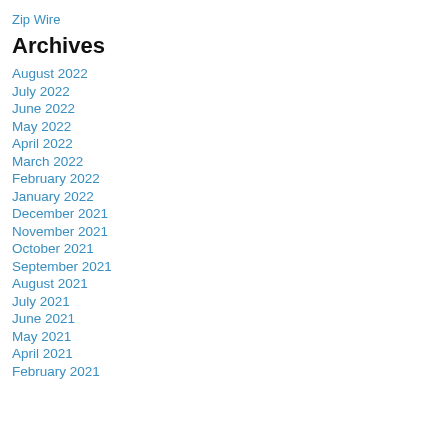Zip Wire
Archives
August 2022
July 2022
June 2022
May 2022
April 2022
March 2022
February 2022
January 2022
December 2021
November 2021
October 2021
September 2021
August 2021
July 2021
June 2021
May 2021
April 2021
February 2021